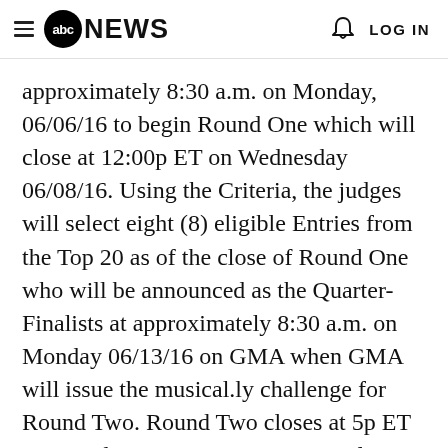abc NEWS   LOG IN
approximately 8:30 a.m. on Monday, 06/06/16 to begin Round One which will close at 12:00p ET on Wednesday 06/08/16. Using the Criteria, the judges will select eight (8) eligible Entries from the Top 20 as of the close of Round One who will be announced as the Quarter-Finalists at approximately 8:30 a.m. on Monday 06/13/16 on GMA when GMA will issue the musical.ly challenge for Round Two. Round Two closes at 5p ET on Monday 06/13/16. Any entrant from Round One not selected as a Quarter-Finalist or any new entrant to the Contest may submit an entry as a wild-card submission in Round Two. If a